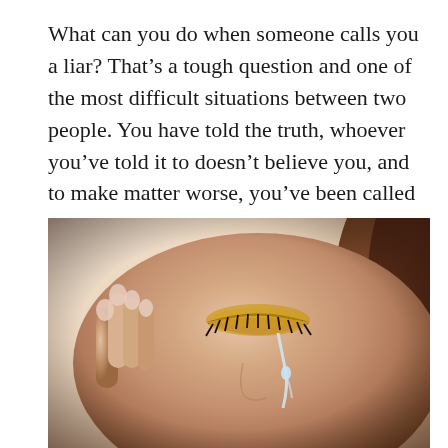What can you do when someone calls you a liar? That’s a tough question and one of the most difficult situations between two people. You have told the truth, whoever you’ve told it to doesn’t believe you, and to make matter worse, you’ve been called a liar.
[Figure (photo): Close-up photograph of a woman with her eyes closed and tears streaming down her face, holding her hand near her cheek. She is wearing gold/bronze eye shadow and has mascara on long lashes.]